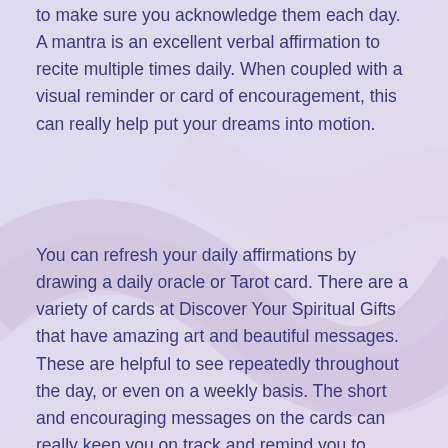to make sure you acknowledge them each day. A mantra is an excellent verbal affirmation to recite multiple times daily. When coupled with a visual reminder or card of encouragement, this can really help put your dreams into motion.
You can refresh your daily affirmations by drawing a daily oracle or Tarot card. There are a variety of cards at Discover Your Spiritual Gifts that have amazing art and beautiful messages. These are helpful to see repeatedly throughout the day, or even on a weekly basis. The short and encouraging messages on the cards can really keep you on track and remind you to remain hopeful and take clear steps toward your goals.
While a vision board is an amazing way to clarify your yearly goals, keeping smaller individual pictures of what you are manifesting in the short term can also be helpful.  Put that new